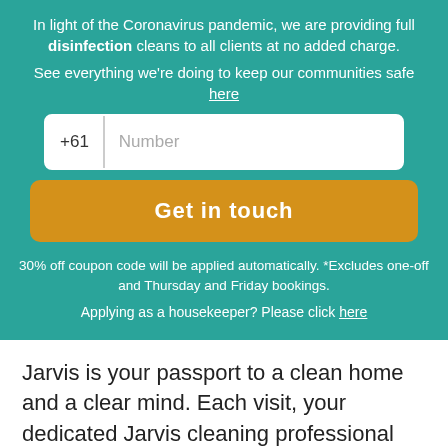In light of the Coronavirus pandemic, we are providing full disinfection cleans to all clients at no added charge.
See everything we're doing to keep our communities safe here
[Figure (other): Phone number input field with +61 country code prefix and Number placeholder]
Get in touch
30% off coupon code will be applied automatically. *Excludes one-off and Thursday and Friday bookings.
Applying as a housekeeper? Please click here
Jarvis is your passport to a clean home and a clear mind. Each visit, your dedicated Jarvis cleaning professional will clean your home exactly the way you want and at a time that suits you best, 7 days